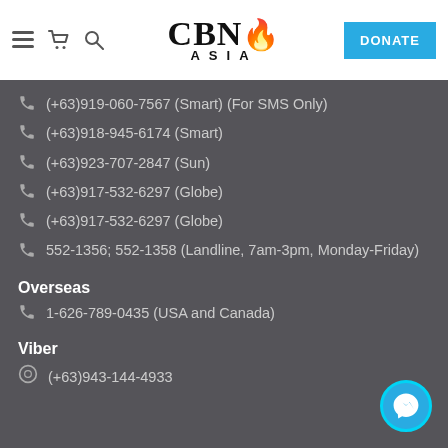CBN Asia — DONATE
(+63)919-060-7567 (Smart) (For SMS Only)
(+63)918-945-6174 (Smart)
(+63)923-707-2847 (Sun)
(+63)917-532-6297 (Globe)
(+63)917-532-6297 (Globe)
552-1356; 552-1358 (Landline, 7am-3pm, Monday-Friday)
Overseas
1-626-789-0435 (USA and Canada)
Viber
(+63)943-144-4933